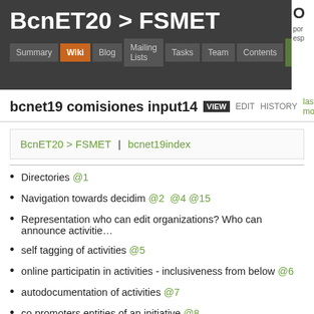BcnET20 > FSMET
bcnet19 comisiones input14   VIEW  EDIT  HISTORY  last modifi…
BcnET20 > FSMET | bcnet19index
Directories @1
Navigation towards decidim @2  @4  @15
Representation who can edit organizations? Who can announce activitie…
self tagging of activities @5
online participatin in activities - inclusiveness from below @6
autodocumentation of activities @7
co promoters entities of an initiative @8
existing and new initiatives @10   geographical area for initiative @11
description of action dates in initiative form @12
expectation from the group promoting an iniative  @13  info on how to…